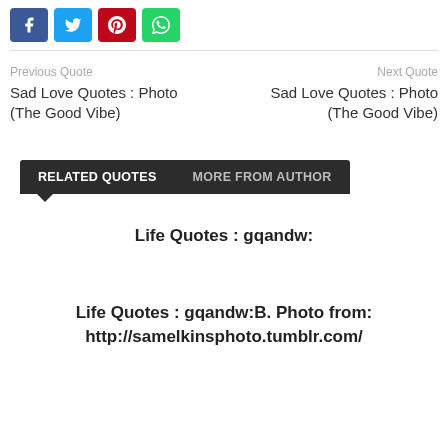[Figure (other): Social share buttons: Facebook (blue), Twitter (cyan), Pinterest (red), WhatsApp (green)]
Previous Quote
Next Quote
Sad Love Quotes : Photo (The Good Vibe)
Sad Love Quotes : Photo (The Good Vibe)
RELATED QUOTES   MORE FROM AUTHOR
Life Quotes : gqandw:
Life Quotes : gqandw:B. Photo from: http://samelkinsphoto.tumblr.com/